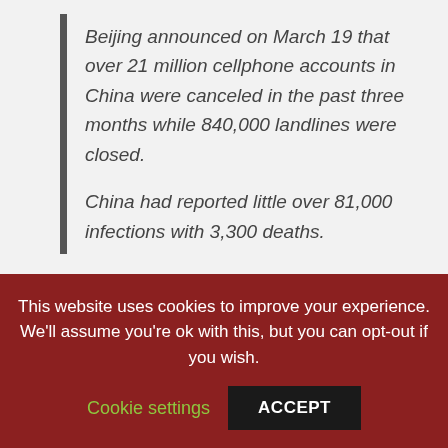Beijing announced on March 19 that over 21 million cellphone accounts in China were canceled in the past three months while 840,000 landlines were closed.

China had reported little over 81,000 infections with 3,300 deaths.
Even though the original link for the report is down, the archived item has gone viral. On April 13, 2020, the
This website uses cookies to improve your experience. We'll assume you're ok with this, but you can opt-out if you wish.
Cookie settings   ACCEPT